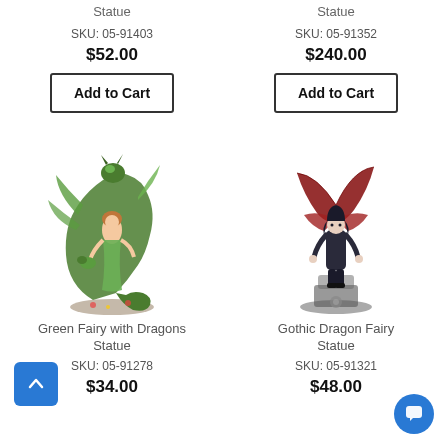Statue
Statue
SKU: 05-91403
SKU: 05-91352
$52.00
$240.00
Add to Cart
Add to Cart
[Figure (photo): Green Fairy with Dragons Statue - a fairy figurine with green dragons]
Green Fairy with Dragons Statue
SKU: 05-91278
$34.00
[Figure (photo): Gothic Dragon Fairy Statue - a gothic fairy figurine with red wings and dragon]
Gothic Dragon Fairy Statue
SKU: 05-91321
$48.00